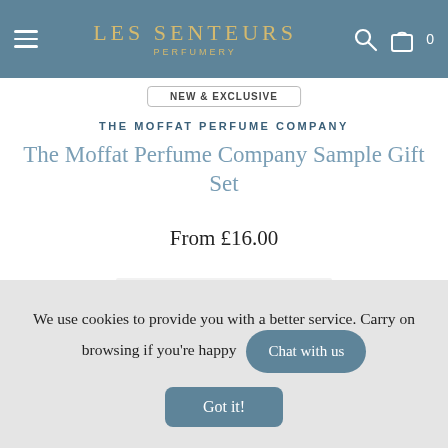LES SENTEURS PERFUMERY
NEW & EXCLUSIVE
THE MOFFAT PERFUME COMPANY
The Moffat Perfume Company Sample Gift Set
From £16.00
[Figure (photo): A perfume bottle with a rounded pale yellow/cream glass body and a square black cap, shown against a light grey background.]
We use cookies to provide you with a better service. Carry on browsing if you're happy
Got it!
Chat with us